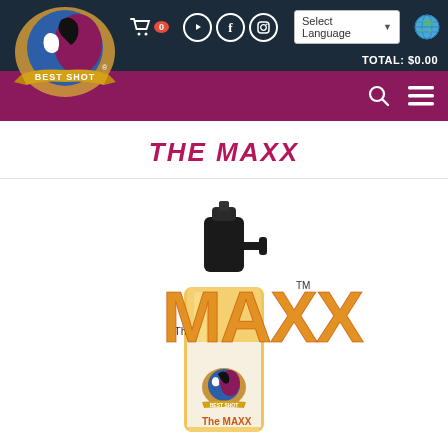Best Shot Pet Products website header with cart (0), social icons (YouTube, Facebook, Instagram), Select Language dropdown, globe icon, TOTAL: $0.00, logo, search and menu icons
THE MAXX
[Figure (photo): Product bottle for 'The Maxx' by Best Shot - a yellow/cream colored spray bottle with black pump top, featuring 'The MAXX' text in flame-style lettering and the Best Shot logo on the label]